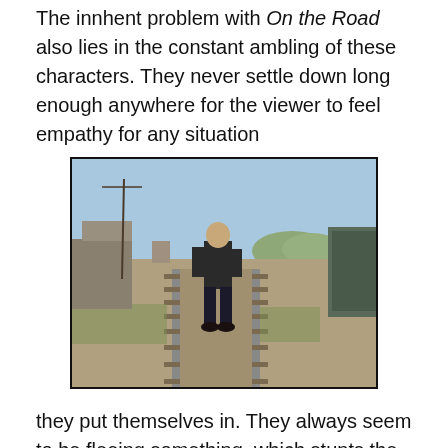The innhent problem with On the Road also lies in the constant ambling of these characters. They never settle down long enough anywhere for the viewer to feel empathy for any situation
[Figure (photo): A person walking along railroad tracks in an outdoor setting, carrying a backpack. Buildings and freight cars are visible to the sides, with mountains and a clear sky in the background.]
they put themselves in. They always seem to be fleeing something, which stunts the drama of conflict.
Instead, Salles' On the Road makes for a nice, sometimes emotional photo montage of the source novel, but there's